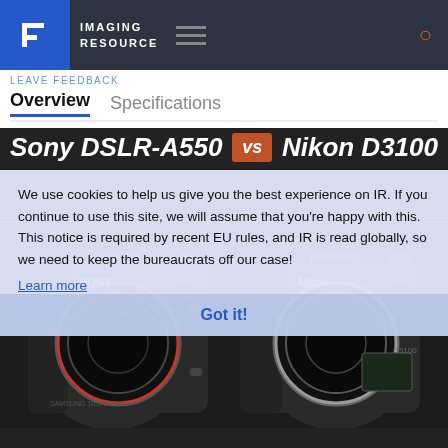IMAGING RESOURCE
LEAVE FEEDBACK
Overview   Specifications
Sony DSLR-A550  vs  Nikon D3100
[Figure (photo): Side-by-side comparison photo of Sony DSLR-A550 (left) and Nikon D3100 (right) camera bodies, both shown without lenses, on dark background. Cookie consent overlay partially covers the image.]
We use cookies to help us give you the best experience on IR. If you continue to use this site, we will assume that you're happy with this. This notice is required by recent EU rules, and IR is read globally, so we need to keep the bureaucrats off our case!
Learn more
Got it!
APS-C 369.7mm²
APS-C 355.7mm²
14.2 megapixels
14.2 megapixels